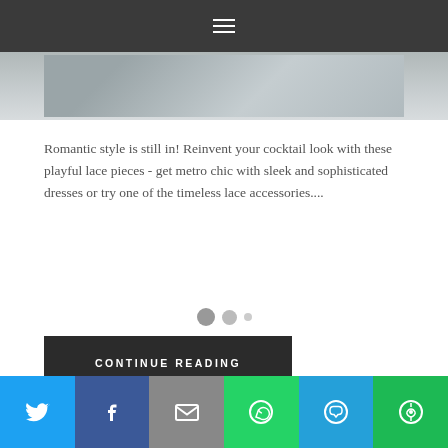≡
[Figure (photo): Partial view of a fashion/portrait photo showing hair and accessories]
Romantic style is still in! Reinvent your cocktail look with these playful lace pieces - get metro chic with sleek and sophisticated dresses or try one of the timeless lace accessories....
CONTINUE READING
2 COMMENTS
Wide Leg Pants Make a